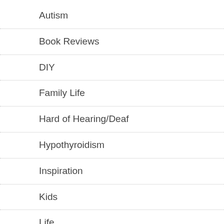Autism
Book Reviews
DIY
Family Life
Hard of Hearing/Deaf
Hypothyroidism
Inspiration
Kids
Life
My Health
Special Adventures